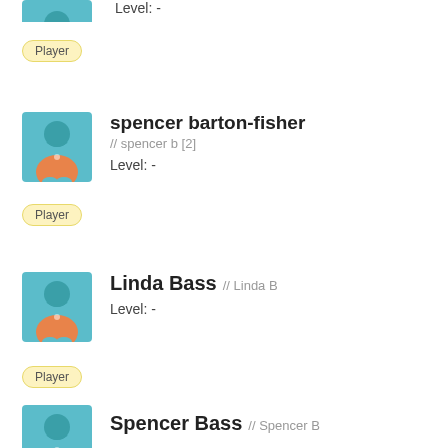[Figure (illustration): Partial player avatar (soccer player icon, teal/orange) at top of page, cropped]
Level: -
Player
[Figure (illustration): Player avatar icon (teal head/torso, orange jersey) for spencer barton-fisher]
spencer barton-fisher // spencer b [2]
Level: -
Player
[Figure (illustration): Player avatar icon (teal head/torso, orange jersey) for Linda Bass]
Linda Bass // Linda B
Level: -
Player
[Figure (illustration): Player avatar icon (teal head/torso, orange jersey) for Spencer Bass, partially visible at bottom]
Spencer Bass // Spencer B